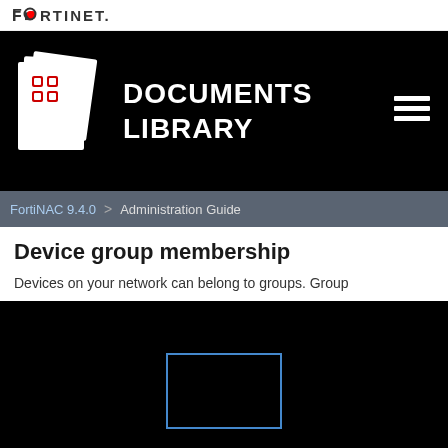FORTINET
[Figure (screenshot): Fortinet Documents Library banner with stacked pages icon showing red cross pattern, large white text reading DOCUMENTS LIBRARY, hamburger menu icon on right]
FortiNAC 9.4.0 > Administration Guide
Device group membership
Devices on your network can belong to groups. Group
[Figure (other): Dark section with a blue-outlined rectangle box in center]